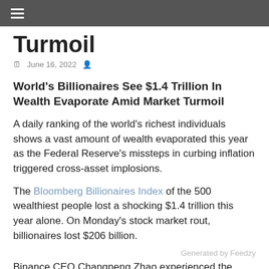≡
Turmoil
June 16, 2022
World's Billionaires See $1.4 Trillion In Wealth Evaporate Amid Market Turmoil
A daily ranking of the world's richest individuals shows a vast amount of wealth evaporated this year as the Federal Reserve's missteps in curbing inflation triggered cross-asset implosions.
The Bloomberg Billionaires Index of the 500 wealthiest people lost a shocking $1.4 trillion this year alone. On Monday's stock market rout, billionaires lost $206 billion.
Generated by Feedzy
Binance CEO Changpeng Zhao experienced the